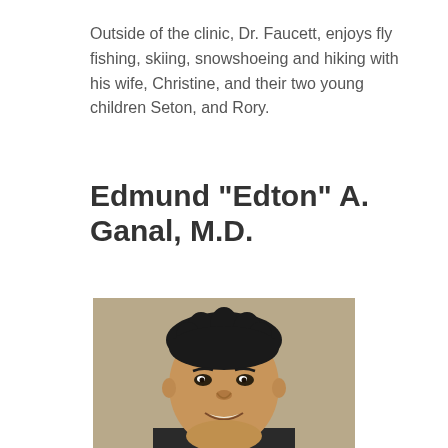Outside of the clinic, Dr. Faucett, enjoys fly fishing, skiing, snowshoeing and hiking with his wife, Christine, and their two young children Seton, and Rory.
Edmund "Edton" A. Ganal, M.D.
[Figure (photo): Headshot photo of Edmund "Edton" A. Ganal, M.D. — a man with short dark hair, smiling, against a neutral beige/gray background.]